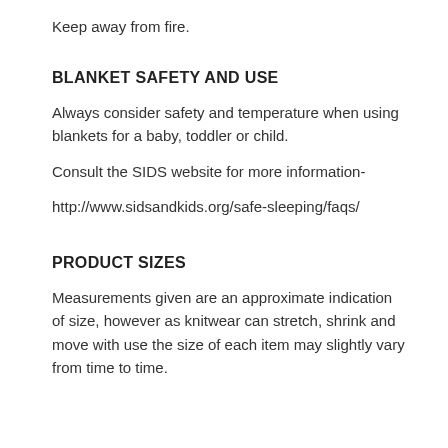Keep away from fire.
BLANKET SAFETY AND USE
Always consider safety and temperature when using blankets for a baby, toddler or child.
Consult the SIDS website for more information-
http://www.sidsandkids.org/safe-sleeping/faqs/
PRODUCT SIZES
Measurements given are an approximate indication of size, however as knitwear can stretch, shrink and move with use the size of each item may slightly vary from time to time.